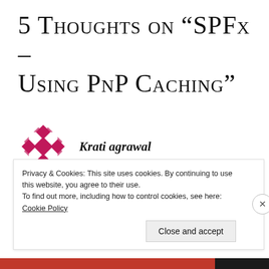5 Thoughts on “SPFx – Using PnP Caching”
Krati agrawal
JUNE 10, 2021 AT 7:31 PM
Hi, I have a query on this, if the expiration
Privacy & Cookies: This site uses cookies. By continuing to use this website, you agree to their use.
To find out more, including how to control cookies, see here: Cookie Policy
Close and accept